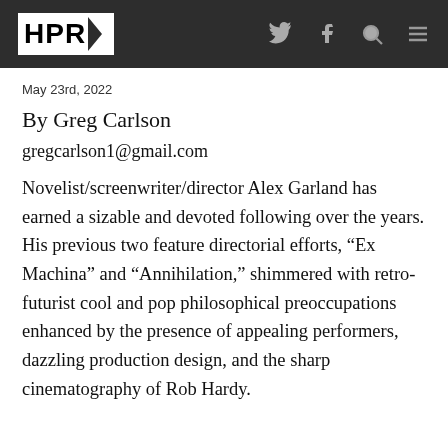HPR
May 23rd, 2022
By Greg Carlson
gregcarlson1@gmail.com
Novelist/screenwriter/director Alex Garland has earned a sizable and devoted following over the years. His previous two feature directorial efforts, “Ex Machina” and “Annihilation,” shimmered with retro-futurist cool and pop philosophical preoccupations enhanced by the presence of appealing performers, dazzling production design, and the sharp cinematography of Rob Hardy.